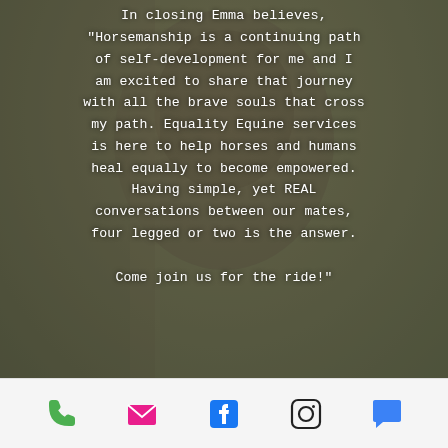[Figure (photo): Background photo of a person (Emma) outdoors in natural setting, overlaid with white text quote on a semi-transparent dark background.]
In closing Emma believes, "Horsemanship is a continuing path of self-development for me and I am excited to share that journey with all the brave souls that cross my path. Equality Equine services is here to help horses and humans heal equally to become empowered. Having simple, yet REAL conversations between our mates, four legged or two is the answer. Come join us for the ride!"
[Figure (infographic): Footer bar with five social/contact icons: green phone icon, pink/magenta email envelope icon, blue Facebook icon, black Instagram icon, blue chat/speech bubble icon.]